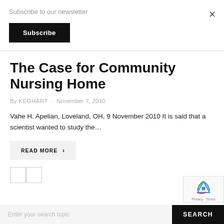Subscribe to our newsletter
Subscribe
The Case for Community Nursing Home
By KEGHART · November 7, 2010
Vahe H. Apelian, Loveland, OH, 9 November 2010 It is said that a scientist wanted to study the…
READ MORE >
Enter your search topic
SEARCH